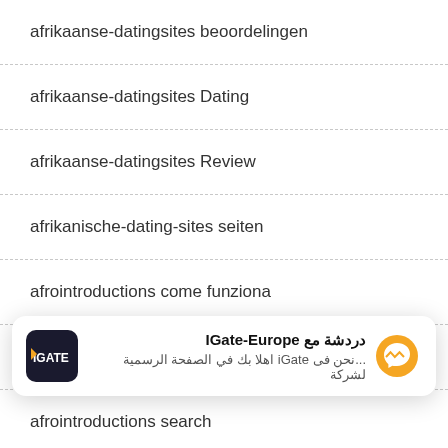afrikaanse-datingsites beoordelingen
afrikaanse-datingsites Dating
afrikaanse-datingsites Review
afrikanische-dating-sites seiten
afrointroductions come funziona
afrointroductions reddit
afrointroductions search
afrointroductions visitors
afrointroductions inceleme visitors
[Figure (other): IGate-Europe Facebook Messenger chat overlay card with Arabic text: دردشة مع IGate-Europe and نحن فى iGate اهلا بك في الصفحة الرسمية لشركة...]